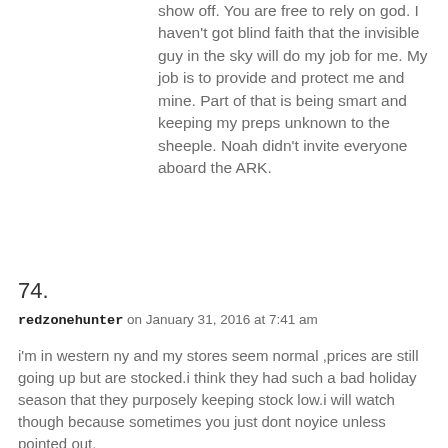show off. You are free to rely on god. I haven't got blind faith that the invisible guy in the sky will do my job for me. My job is to provide and protect me and mine. Part of that is being smart and keeping my preps unknown to the sheeple. Noah didn't invite everyone aboard the ARK.
74.
redzonehunter on January 31, 2016 at 7:41 am
i'm in western ny and my stores seem normal ,prices are still going up but are stocked.i think they had such a bad holiday season that they purposely keeping stock low.i will watch though because sometimes you just dont noyice unless pointed out.